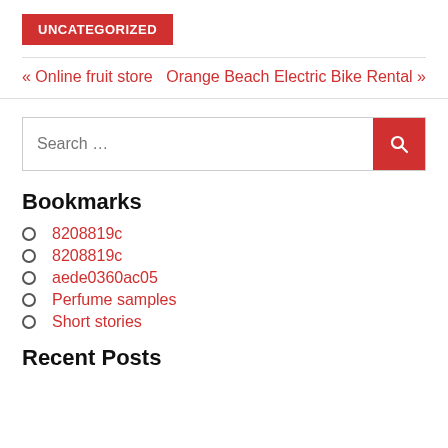UNCATEGORIZED
« Online fruit store   Orange Beach Electric Bike Rental »
[Figure (other): Search bar with red search button]
Bookmarks
8208819c
8208819c
aede0360ac05
Perfume samples
Short stories
Recent Posts